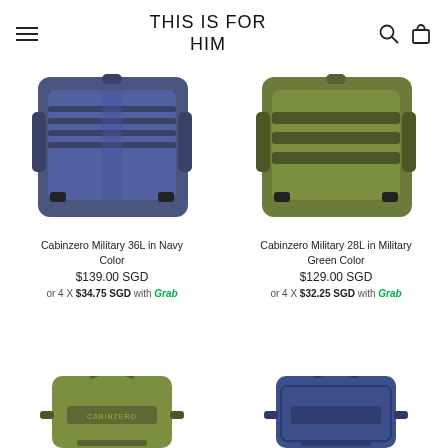THIS IS FOR HIM
[Figure (photo): Cabinzero Military 36L backpack in Navy Color, showing the back panel with MOLLE webbing straps]
Cabinzero Military 36L in Navy Color
$139.00 SGD
or 4 x $34.75 SGD with Grab
[Figure (photo): Cabinzero Military 28L backpack in Military Green Color, showing the back panel with horizontal MOLLE straps]
Cabinzero Military 28L in Military Green Color
$129.00 SGD
or 4 x $32.25 SGD with Grab
[Figure (photo): Cabinzero backpack in olive/military green color, front view with Cabinzero logo visible]
[Figure (photo): Cabinzero backpack in navy blue color, front view]